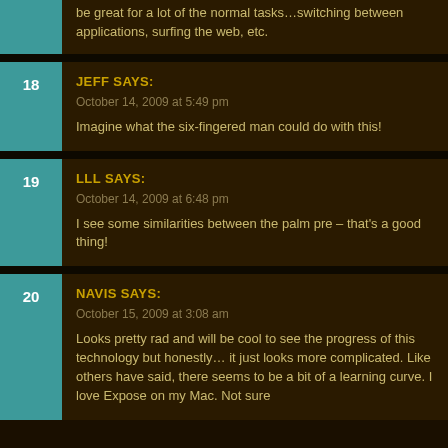be great for a lot of the normal tasks…switching between applications, surfing the web, etc.
18 JEFF SAYS: October 14, 2009 at 5:49 pm
Imagine what the six-fingered man could do with this!
19 LLL SAYS: October 14, 2009 at 6:48 pm
I see some similarities between the palm pre – that's a good thing!
20 NAVIS SAYS: October 15, 2009 at 3:08 am
Looks pretty rad and will be cool to see the progress of this technology but honestly… it just looks more complicated. Like others have said, there seems to be a bit of a learning curve. I love Expose on my Mac. Not sure